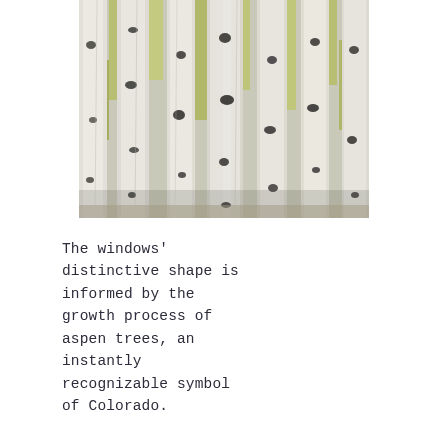[Figure (photo): A close-up photograph of white aspen tree trunks standing densely together, with small dark knots and patches of yellow-green foliage visible between the trunks.]
The windows' distinctive shape is informed by the growth process of aspen trees, an instantly recognizable symbol of Colorado.